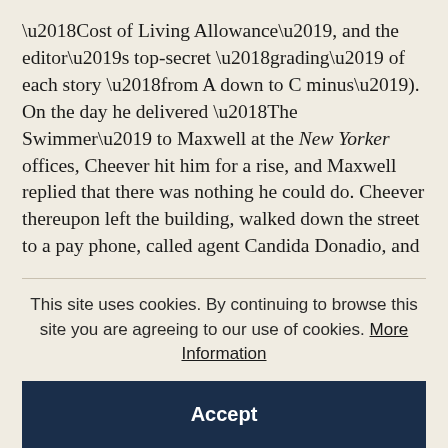'Cost of Living Allowance', and the editor's top-secret 'grading' of each story 'from A down to C minus'). On the day he delivered 'The Swimmer' to Maxwell at the New Yorker offices, Cheever hit him for a rise, and Maxwell replied that there was nothing he could do. Cheever thereupon left the building, walked down the street to a pay phone, called agent Candida Donadio, and told her his problem. 'Stay right there,' she said, and called back within minutes to relay a munificent offer from the Saturday Evening Post. Cheever went back
This site uses cookies. By continuing to browse this site you are agreeing to our use of cookies. More Information
Accept